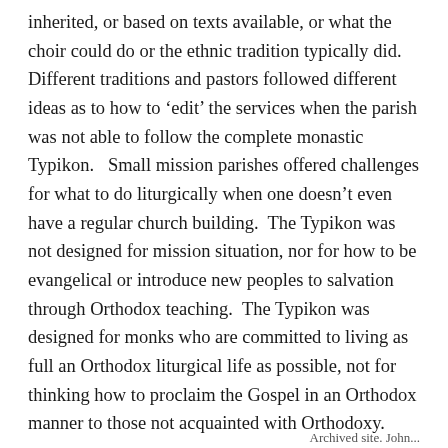inherited, or based on texts available, or what the choir could do or the ethnic tradition typically did. Different traditions and pastors followed different ideas as to how to ‘edit’ the services when the parish was not able to follow the complete monastic Typikon.   Small mission parishes offered challenges for what to do liturgically when one doesn’t even have a regular church building.  The Typikon was not designed for mission situation, nor for how to be evangelical or introduce new peoples to salvation through Orthodox teaching.  The Typikon was designed for monks who are committed to living as full an Orthodox liturgical life as possible, not for thinking how to proclaim the Gospel in an Orthodox manner to those not acquainted with Orthodoxy.
Archived site. John...